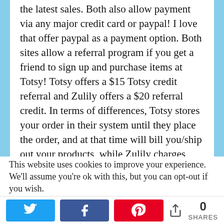the latest sales. Both also allow payment via any major credit card or paypal! I love that offer paypal as a payment option. Both sites allow a referral program if you get a friend to sign up and purchase items at Totsy! Totsy offers a $15 Totsy credit referral and Zulily offers a $20 referral credit. In terms of differences, Totsy stores your order in their system until they place the order, and at that time will bill you/ship out your products, while Zulily charges your card right away. Zulily also offers free shipping on any subsequent orders placed until midnight after
This website uses cookies to improve your experience. We'll assume you're ok with this, but you can opt-out if you wish.
0 SHARES